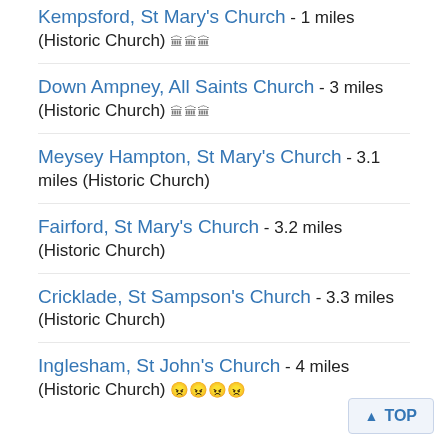Kempsford, St Mary's Church - 1 miles (Historic Church)
Down Ampney, All Saints Church - 3 miles (Historic Church)
Meysey Hampton, St Mary's Church - 3.1 miles (Historic Church)
Fairford, St Mary's Church - 3.2 miles (Historic Church)
Cricklade, St Sampson's Church - 3.3 miles (Historic Church)
Inglesham, St John's Church - 4 miles (Historic Church)